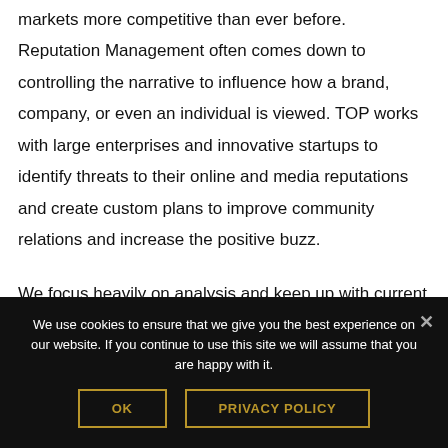markets more competitive than ever before. Reputation Management often comes down to controlling the narrative to influence how a brand, company, or even an individual is viewed. TOP works with large enterprises and innovative startups to identify threats to their online and media reputations and create custom plans to improve community relations and increase the positive buzz.
We focus heavily on analysis and keep up with current trends to empower companies to act quickly and mitigate
We use cookies to ensure that we give you the best experience on our website. If you continue to use this site we will assume that you are happy with it.
OK
PRIVACY POLICY